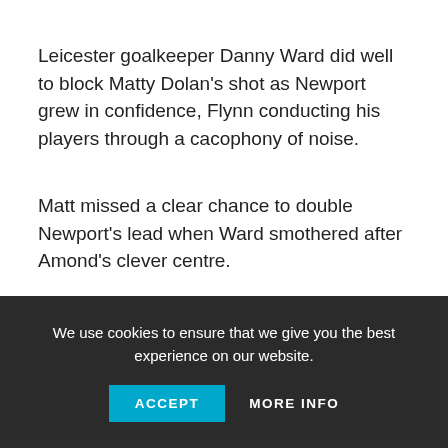Leicester goalkeeper Danny Ward did well to block Matty Dolan's shot as Newport grew in confidence, Flynn conducting his players through a cacophony of noise.
Matt missed a clear chance to double Newport's lead when Ward smothered after Amond's clever centre.
FA Cup: Jamille Matt puts League Two Newport in front against Premier League Leicester
Newport punish wasteful Leicester
Although Leicester boss Claude Puel made seven changes to
We use cookies to ensure that we give you the best experience on our website.
ACCEPT    MORE INFO